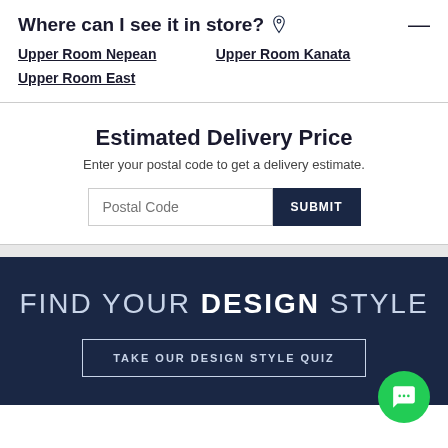Where can I see it in store?
Upper Room Nepean
Upper Room Kanata
Upper Room East
Estimated Delivery Price
Enter your postal code to get a delivery estimate.
Postal Code | SUBMIT
[Figure (infographic): Dark navy banner with text: FIND YOUR DESIGN STYLE and a button: TAKE OUR DESIGN STYLE QUIZ, with a green chat bubble icon in the bottom right corner.]